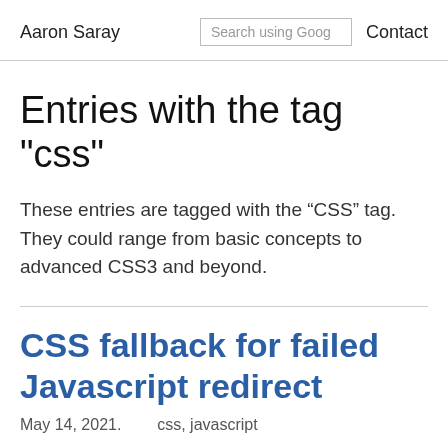Aaron Saray   Search using Goog   Contact
Entries with the tag "css"
These entries are tagged with the “CSS” tag. They could range from basic concepts to advanced CSS3 and beyond.
CSS fallback for failed Javascript redirect
May 14, 2021.    css, javascript